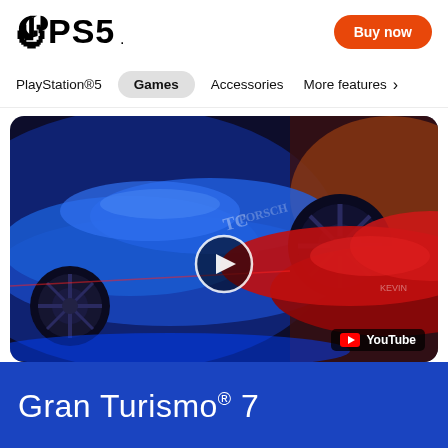[Figure (logo): PlayStation 5 logo with PS symbol and PS5 text in black]
Buy now
PlayStation®5   Games   Accessories   More features >
[Figure (screenshot): Gran Turismo 7 promotional video thumbnail showing two racing cars - a blue car on the left and a red car on the right - with a YouTube play button overlay and YouTube badge in the bottom right corner]
Gran Turismo® 7